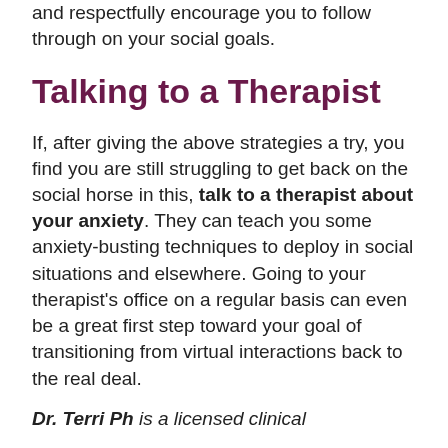and respectfully encourage you to follow through on your social goals.
Talking to a Therapist
If, after giving the above strategies a try, you find you are still struggling to get back on the social horse in this, talk to a therapist about your anxiety. They can teach you some anxiety-busting techniques to deploy in social situations and elsewhere. Going to your therapist's office on a regular basis can even be a great first step toward your goal of transitioning from virtual interactions back to the real deal.
Dr. Terri Ph is a licensed clinical